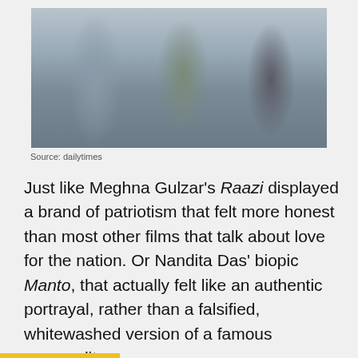[Figure (photo): Three people sitting together outdoors against a stone wall background. A man on the left in a grey shirt and blue trousers, a woman in the center in a green top, and a woman on the right in a grey top and dark trousers.]
Source: dailytimes
Just like Meghna Gulzar's Raazi displayed a brand of patriotism that felt more honest than most other films that talk about love for the nation. Or Nandita Das' biopic Manto, that actually felt like an authentic portrayal, rather than a falsified, whitewashed version of a famous personality.